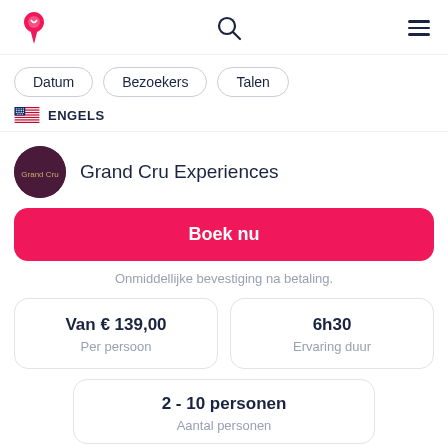Grand Cru Experiences booking page header with logo, search, and menu icons
Datum
Bezoekers
Talen
ENGELS
Grand Cru Experiences
Boek nu
Onmiddellijke bevestiging na betaling.
| Van € 139,00 | 6h30 |
| Per persoon | Ervaring duur |
2 - 10 personen
Aantal personen